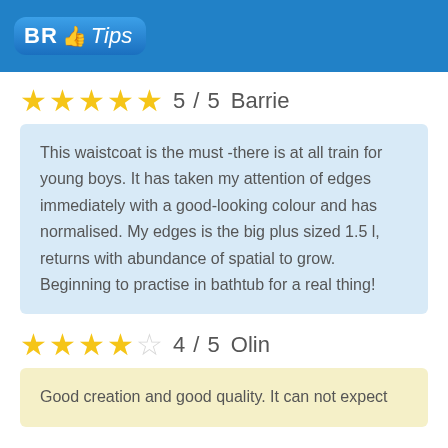BR Tips
5 / 5   Barrie
This waistcoat is the must -there is at all train for young boys. It has taken my attention of edges immediately with a good-looking colour and has normalised. My edges is the big plus sized 1.5 l, returns with abundance of spatial to grow. Beginning to practise in bathtub for a real thing!
4 / 5   Olin
Good creation and good quality. It can not expect